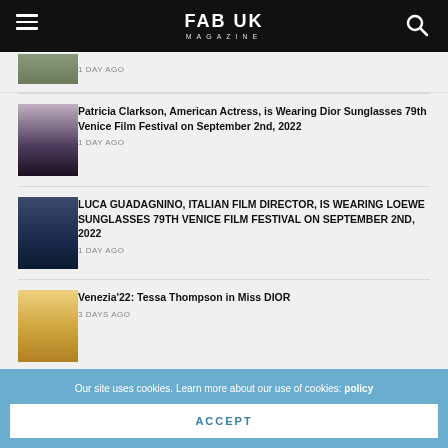FAB UK MAGAZINE
1 DAY AGO
Patricia Clarkson, American Actress, is Wearing Dior Sunglasses 79th Venice Film Festival on September 2nd, 2022
1 DAY AGO
LUCA GUADAGNINO, ITALIAN FILM DIRECTOR, IS WEARING LOEWE SUNGLASSES 79TH VENICE FILM FESTIVAL ON SEPTEMBER 2ND, 2022
1 DAY AGO
Venezia'22: Tessa Thompson in Miss DIOR
3 DAYS AGO
Our site uses cookies. Learn more about our use of cookies: policy
ACCEPT